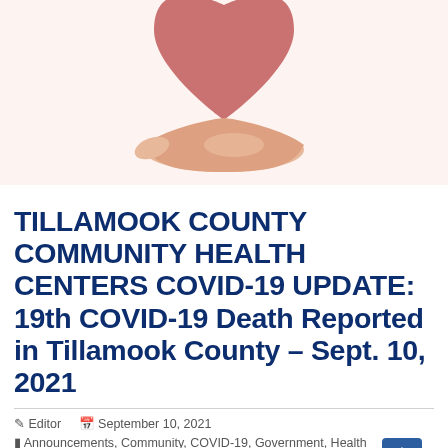[Figure (illustration): Illustration of a hand holding a red heart shape on a light pink/peach background]
TILLAMOOK COUNTY COMMUNITY HEALTH CENTERS COVID-19 UPDATE: 19th COVID-19 Death Reported in Tillamook County – Sept. 10, 2021
Editor  September 10, 2021
Announcements, Community, COVID-19, Government, Health Care, Press Release, Tillamook County Communitiy Health Centers